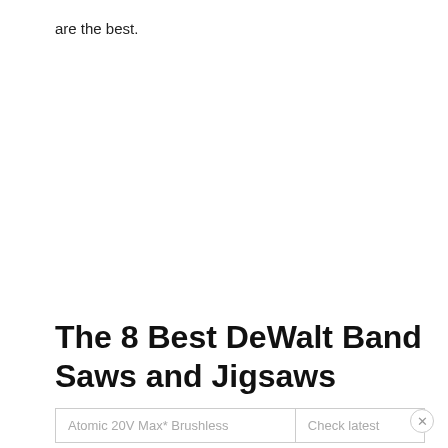are the best.
The 8 Best DeWalt Band Saws and Jigsaws
| Atomic 20V Max* Brushless | Check latest |
| --- | --- |